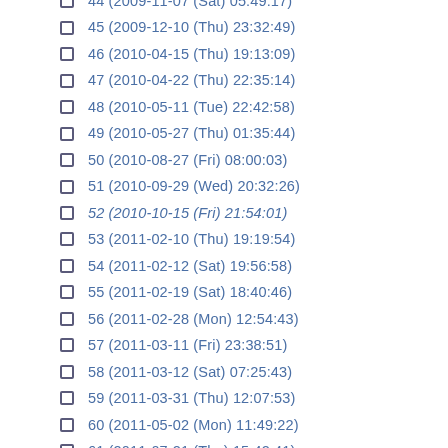44 (2009-11-07 (Sat) 05:49:17)
45 (2009-12-10 (Thu) 23:32:49)
46 (2010-04-15 (Thu) 19:13:09)
47 (2010-04-22 (Thu) 22:35:14)
48 (2010-05-11 (Tue) 22:42:58)
49 (2010-05-27 (Thu) 01:35:44)
50 (2010-08-27 (Fri) 08:00:03)
51 (2010-09-29 (Wed) 20:32:26)
52 (2010-10-15 (Fri) 21:54:01)
53 (2011-02-10 (Thu) 19:19:54)
54 (2011-02-12 (Sat) 19:56:58)
55 (2011-02-19 (Sat) 18:40:46)
56 (2011-02-28 (Mon) 12:54:43)
57 (2011-03-11 (Fri) 23:38:51)
58 (2011-03-12 (Sat) 07:25:43)
59 (2011-03-31 (Thu) 12:07:53)
60 (2011-05-02 (Mon) 11:49:22)
61 (2011-07-21 (Thu) 15:42:41)
62 (2011-08-10 (Wed) 17:34:35)
63 (2011-09-16 (Fri) 07:29:45)
64 (2011-09-27 (Tue) 18:40:15)
65 (2011-09-29 (Thu) 15:55:10)
66 (2011-10-06 (Thu) 13:16:37)
67 (2011-10-26 (Wed) 08:30:10)
68 (2011-10-31 (Mon) 13:35:02)
69 (2012-01-16 (Mon) 09:59:50)